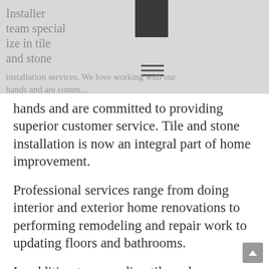[Figure (photo): Hero section with light grey background showing partial text overlay about tile and stone installer team, with a dark logo block and hamburger menu icon visible]
hands and are committed to providing superior customer service. Tile and stone installation is now an integral part of home improvement.
Professional services range from doing interior and exterior home renovations to performing remodeling and repair work to updating floors and bathrooms.
In addition to upgrading tile and stonework, homeowners should know that we perform other services that may include updating basement